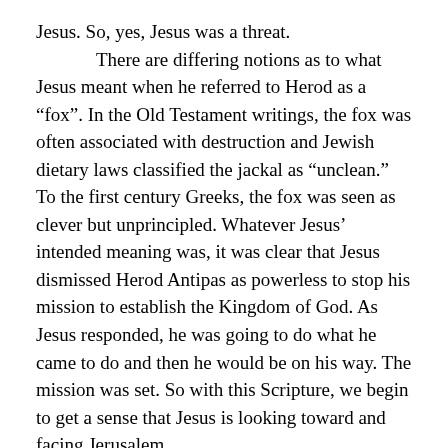Jesus.  So, yes, Jesus was a threat.

	There are differing notions as to what Jesus meant when he referred to Herod as a “fox”. In the Old Testament writings, the fox was often associated with destruction and Jewish dietary laws classified the jackal as “unclean.”  To the first century Greeks, the fox was seen as clever but unprincipled.  Whatever Jesus’ intended meaning was, it was clear that Jesus dismissed Herod Antipas as powerless to stop his mission to establish the Kingdom of God.  As Jesus responded, he was going to do what he came to do and then he would be on his way.  The mission was set.  So with this Scripture, we begin to get a sense that Jesus is looking toward and facing Jerusalem.

	Jesus is no longer merely “preparing” to go to Jerusalem.  He is headed there.  He has set his face toward the holy city.  To Jesus, the danger was not in the Herods